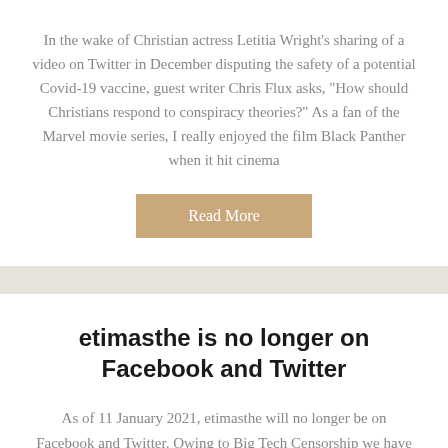In the wake of Christian actress Letitia Wright's sharing of a video on Twitter in December disputing the safety of a potential Covid-19 vaccine, guest writer Chris Flux asks, "How should Christians respond to conspiracy theories?" As a fan of the Marvel movie series, I really enjoyed the film Black Panther when it hit cinema
Read More
estimasthe is no longer on Facebook and Twitter
As of 11 January 2021, etimasthe will no longer be on Facebook and Twitter. Owing to Big Tech Censorship we have taken the decision to remove etimasthe from these platforms. You can still keep in touch with etimasthe's articles by subscribing by e-mail. Best wishes to you all!